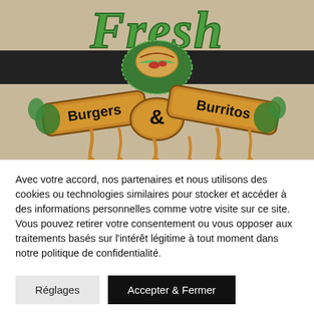[Figure (photo): Restaurant sign for 'Fresh Burgers & Burritos' — green retro lettering spelling 'Fresh' at top, cartoon chef/burrito character in center on a dark horizontal bar, and wooden-style signs reading 'Burgers & Burritos' with dripping sauce effect, set against a sandy/beige wall background.]
Avec votre accord, nos partenaires et nous utilisons des cookies ou technologies similaires pour stocker et accéder à des informations personnelles comme votre visite sur ce site. Vous pouvez retirer votre consentement ou vous opposer aux traitements basés sur l'intérêt légitime à tout moment dans notre politique de confidentialité.
Réglages
Accepter & Fermer